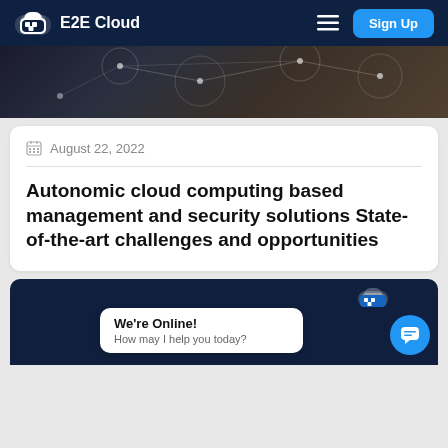E2E Cloud
[Figure (photo): Hero image showing a digital network/connectivity visual with dark tones and glowing connection nodes]
August 22, 2022
Autonomic cloud computing based management and security solutions State-of-the-art challenges and opportunities
[Figure (screenshot): Dark navy background card (partial, bottom of page) with a chat widget showing 'We're Online! How may I help you today?' bubble and a blue circular chat button with speech bubble icon]